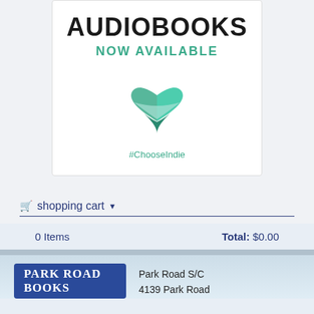[Figure (infographic): Audiobooks Now Available #ChooseIndie promotional card with heart logo]
shopping cart
0 Items    Total: $0.00
[Figure (logo): Park Road Books logo]
Park Road S/C
4139 Park Road